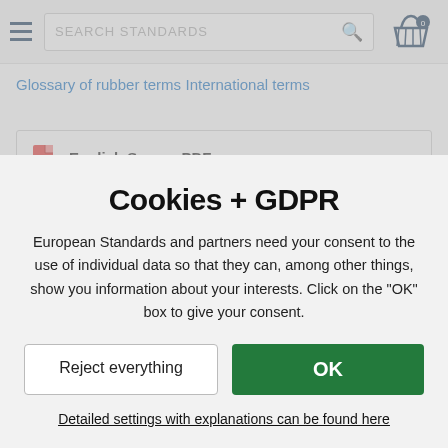SEARCH STANDARDS
Glossary of rubber terms
International terms
English Secure PDF
Immediate download
Cookies + GDPR
European Standards and partners need your consent to the use of individual data so that they can, among other things, show you information about your interests. Click on the "OK" box to give your consent.
Reject everything
OK
Detailed settings with explanations can be found here